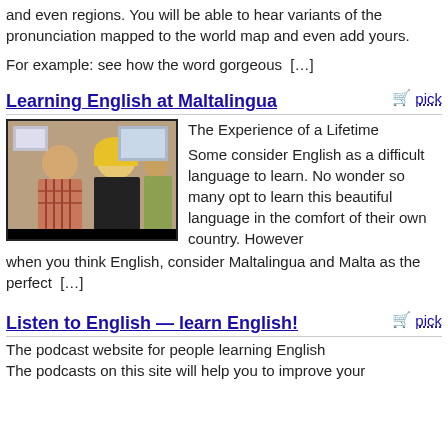and even regions. You will be able to hear variants of the pronunciation mapped to the world map and even add yours.
For example: see how the word gorgeous  […]
Learning English at Maltalingua
[Figure (photo): Photo of people in a classroom or learning environment, with a man in a plaid shirt and a woman with blonde hair visible]
The Experience of a Lifetime
Some consider English as a difficult language to learn. No wonder so many opt to learn this beautiful language in the comfort of their own country. However when you think English, consider Maltalingua and Malta as the perfect  […]
Listen to English — learn English!
The podcast website for people learning English
The podcasts on this site will help you to improve your